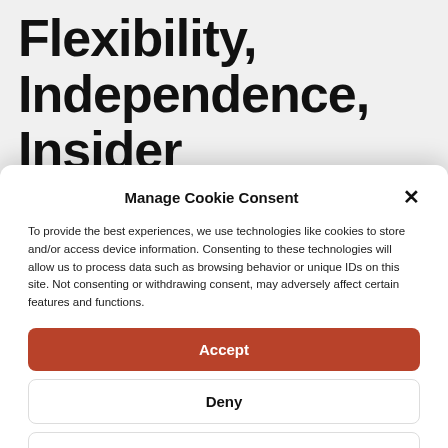Flexibility, Independence, Insider Perspective, and Value
Manage Cookie Consent
To provide the best experiences, we use technologies like cookies to store and/or access device information. Consenting to these technologies will allow us to process data such as browsing behavior or unique IDs on this site. Not consenting or withdrawing consent, may adversely affect certain features and functions.
Accept
Deny
View preferences
Cookie Policy